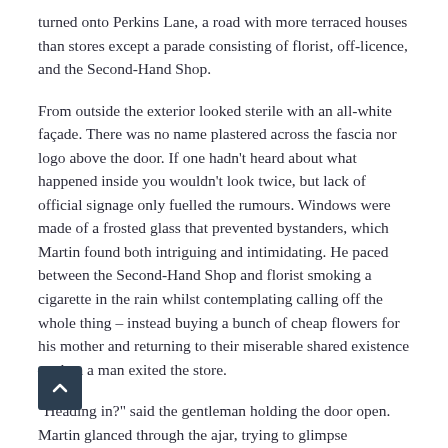turned onto Perkins Lane, a road with more terraced houses than stores except a parade consisting of florist, off-licence, and the Second-Hand Shop.
From outside the exterior looked sterile with an all-white façade. There was no name plastered across the fascia nor logo above the door. If one hadn't heard about what happened inside you wouldn't look twice, but lack of official signage only fuelled the rumours. Windows were made of a frosted glass that prevented bystanders, which Martin found both intriguing and intimidating. He paced between the Second-Hand Shop and florist smoking a cigarette in the rain whilst contemplating calling off the whole thing – instead buying a bunch of cheap flowers for his mother and returning to their miserable shared existence – when a man exited the store.
"Heading in?" said the gentleman holding the door open. Martin glanced through the ajar, trying to glimpse something noteworthy that would justify his cowardice. He couldn't see any such thing. "Thanks," he mumbled, shuffling past.